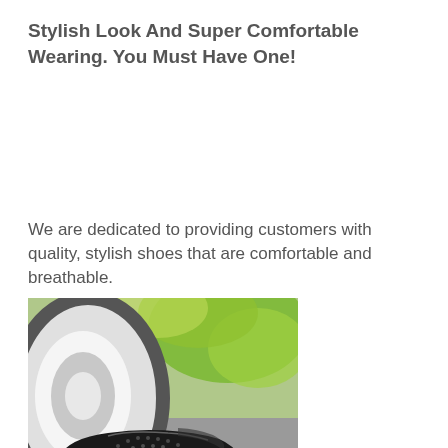Stylish Look And Super Comfortable Wearing. You Must Have One!
We are dedicated to providing customers with quality, stylish shoes that are comfortable and breathable.
[Figure (photo): Photo of a dark athletic/safety shoe next to a large white tire wheel, with green foliage in the background, on a wet surface.]